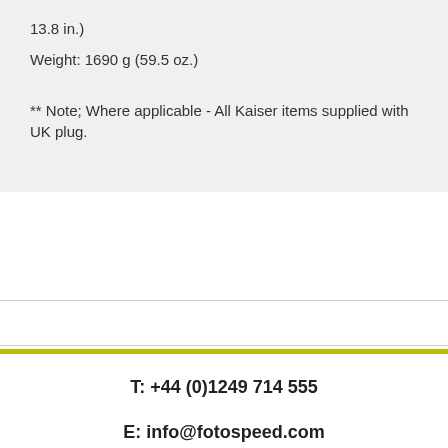13.8 in.)
Weight: 1690 g (59.5 oz.)
** Note; Where applicable - All Kaiser items supplied with UK plug.
T: +44 (0)1249 714 555
E: info@fotospeed.com